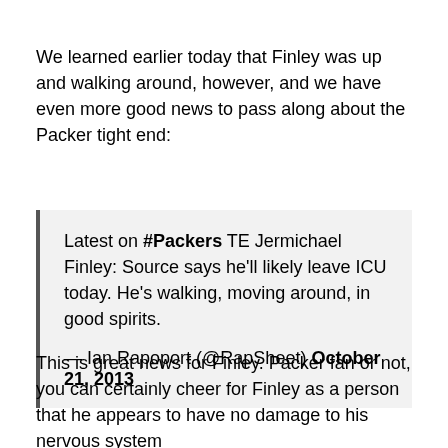We learned earlier today that Finley was up and walking around, however, and we have even more good news to pass along about the Packer tight end:
Latest on #Packers TE Jermichael Finley: Source says he'll likely leave ICU today. He's walking, moving around, in good spirits.

— Ian Rapoport (@RapSheet) October 21, 2013
This is great news for Finley. Packer fan or not, you can certainly cheer for Finley as a person that he appears to have no damage to his nervous system